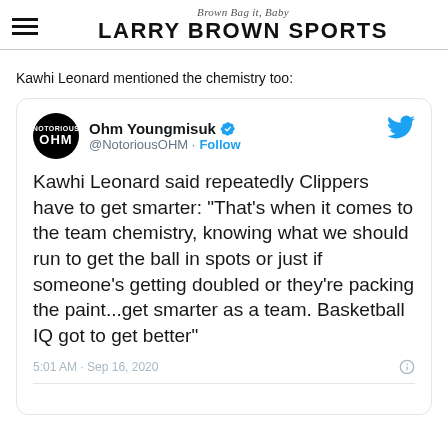Brown Bag it, Baby — LARRY BROWN SPORTS
Kawhi Leonard mentioned the chemistry too:
[Figure (screenshot): Embedded tweet from @NotoriousOHM (Ohm Youngmisuk) reading: Kawhi Leonard said repeatedly Clippers have to get smarter: "That's when it comes to the team chemistry, knowing what we should run to get the ball in spots or just if someone's getting doubled or they're packing the paint...get smarter as a team. Basketball IQ got to get better". Timestamp: 5:01 AM · Sep 16, 2020]